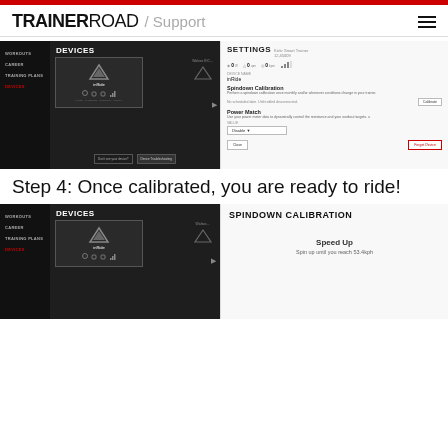TRAINERROAD / Support
[Figure (screenshot): TrainerRoad app screenshot showing Devices panel with inRide device selected and Settings panel open showing Spindown Calibration, Power Match options with Calibrate button and Forget Device/Close buttons]
Step 4: Once calibrated, you are ready to ride!
[Figure (screenshot): TrainerRoad app screenshot showing Devices panel with inRide device and Spindown Calibration panel showing Speed Up and spin up until you reach 53.4kph instructions]